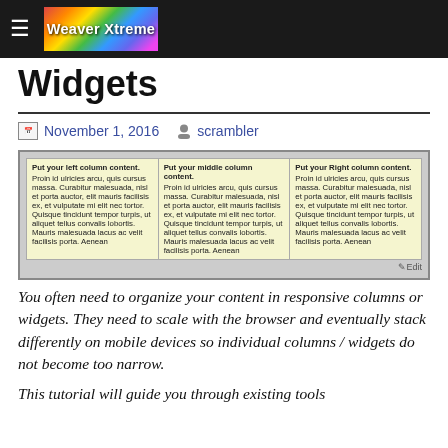Weaver Xtreme
Widgets
November 1, 2016   scrambler
[Figure (screenshot): Screenshot showing a three-column widget layout with placeholder lorem ipsum text in each column labeled 'Put your left column content.', 'Put your middle column content.', and 'Put your Right column content.' with an Edit link in the bottom right.]
You often need to organize your content in responsive columns or widgets. They need to scale with the browser and eventually stack differently on mobile devices so individual columns / widgets do not become too narrow.
This tutorial will guide you through existing tools